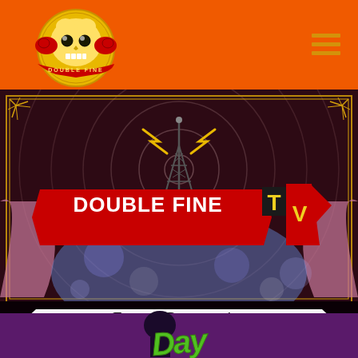[Figure (logo): Double Fine Productions logo - yellow cartoon skull with boxing gloves on orange background, circular badge with 'DOUBLE FINE' text]
[Figure (illustration): Double Fine TV feature presentation graphic - red banner with 'DOUBLE FINE TV' text, radio tower with lightning bolts, concentric radar circles on dark maroon background, gold decorative border frame, white banner reading 'Feature Presentation' in cursive, bottom shows purple background with green stylized 'Day' text partially visible]
DOUBLE FINE TV
Feature Presentation